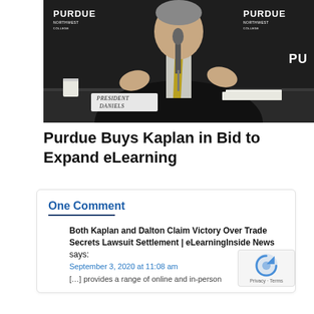[Figure (photo): Man in dark suit with yellow tie seated at a table with a microphone, Purdue Northwest College backdrop visible, nameplate reading 'PRESIDENT DANIELS']
Purdue Buys Kaplan in Bid to Expand eLearning
One Comment
Both Kaplan and Dalton Claim Victory Over Trade Secrets Lawsuit Settlement | eLearningInside News says:
September 3, 2020 at 11:08 am
[…] provides a range of online and in-person